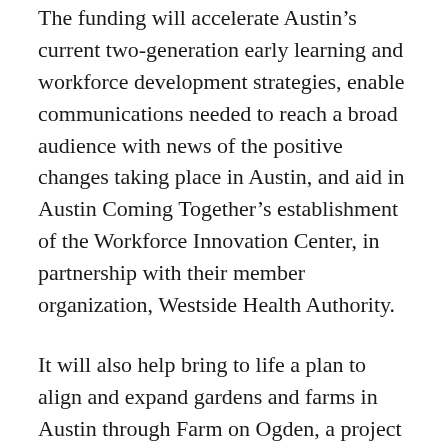The funding will accelerate Austin's current two-generation early learning and workforce development strategies, enable communications needed to reach a broad audience with news of the positive changes taking place in Austin, and aid in Austin Coming Together's establishment of the Workforce Innovation Center, in partnership with their member organization, Westside Health Authority.
It will also help bring to life a plan to align and expand gardens and farms in Austin through Farm on Ogden, a project of the Chicago Botanic Garden and Lawndale Christian Health Center.
“We are incredibly grateful for committed partners like the Waddell family who support the work of our